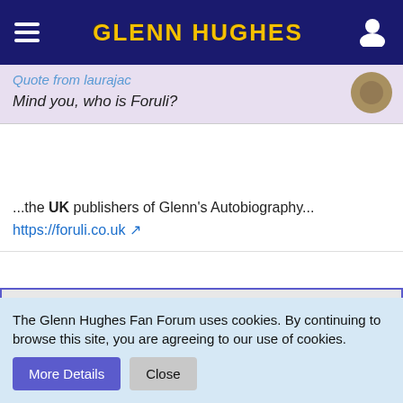Glenn Hughes
Quote from laurajac
Mind you, who is Foruli?
...the UK publishers of Glenn's Autobiography...
https://foruli.co.uk
Cobud
GHCP Trainee
Jun 24th 2014
Thanks Harry
The Glenn Hughes Fan Forum uses cookies. By continuing to browse this site, you are agreeing to our use of cookies.